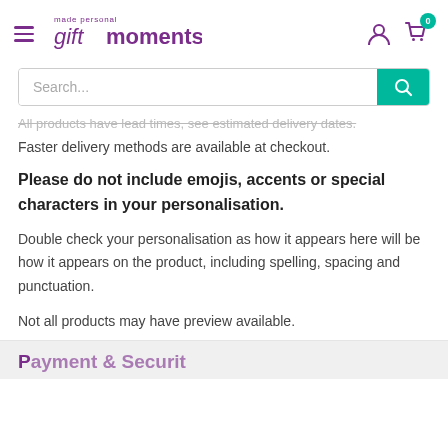gift moments — made personal
All products have lead times, see estimated delivery dates. Faster delivery methods are available at checkout.
Please do not include emojis, accents or special characters in your personalisation.
Double check your personalisation as how it appears here will be how it appears on the product, including spelling, spacing and punctuation.
Not all products may have preview available.
Payment & Security